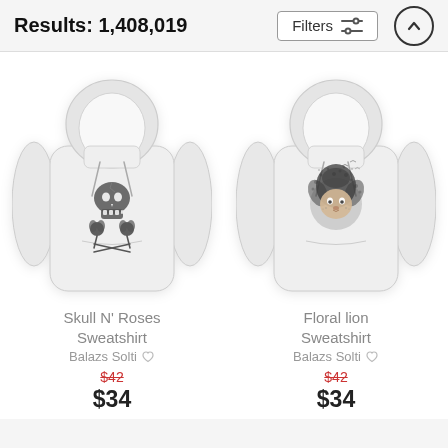Results: 1,408,019
[Figure (screenshot): Filters button with sliders icon and up-arrow circle button in header]
[Figure (photo): White hoodie sweatshirt with skull and roses graphic design]
[Figure (photo): White hoodie sweatshirt with floral lion graphic design]
Skull N' Roses Sweatshirt
Balazs Solti
$42 $34
Floral lion Sweatshirt
Balazs Solti
$42 $34